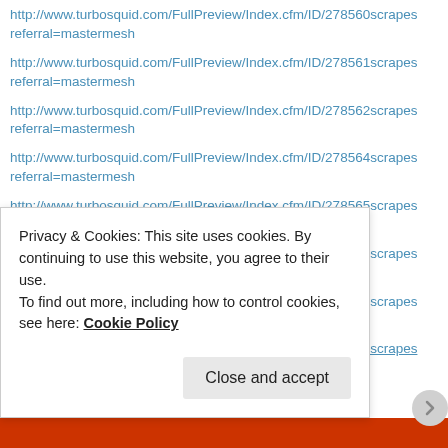http://www.turbosquid.com/FullPreview/Index.cfm/ID/278560scrapes
referral=mastermesh
http://www.turbosquid.com/FullPreview/Index.cfm/ID/278561scrapes
referral=mastermesh
http://www.turbosquid.com/FullPreview/Index.cfm/ID/278562scrapes
referral=mastermesh
http://www.turbosquid.com/FullPreview/Index.cfm/ID/278564scrapes
referral=mastermesh
http://www.turbosquid.com/FullPreview/Index.cfm/ID/278565scrapes
referral=mastermesh
http://www.turbosquid.com/FullPreview/Index.cfm/ID/278567scrapes
referral=mastermesh
http://www.turbosquid.com/FullPreview/Index.cfm/ID/278568scrapes
referral=mastermesh
http://www.turbosquid.com/FullPreview/Index.cfm/ID/278570scrapes
Privacy & Cookies: This site uses cookies. By continuing to use this website, you agree to their use.
To find out more, including how to control cookies, see here: Cookie Policy